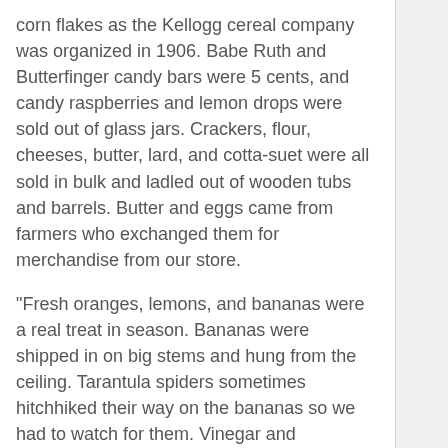corn flakes as the Kellogg cereal company was organized in 1906. Babe Ruth and Butterfinger candy bars were 5 cents, and candy raspberries and lemon drops were sold out of glass jars. Crackers, flour, cheeses, butter, lard, and cotta-suet were all sold in bulk and ladled out of wooden tubs and barrels. Butter and eggs came from farmers who exchanged them for merchandise from our store.
"Fresh oranges, lemons, and bananas were a real treat in season. Bananas were shipped in on big stems and hung from the ceiling. Tarantula spiders sometimes hitchhiked their way on the bananas so we had to watch for them. Vinegar and kerosene were housed in the back room and ladled out in cans and bottles.